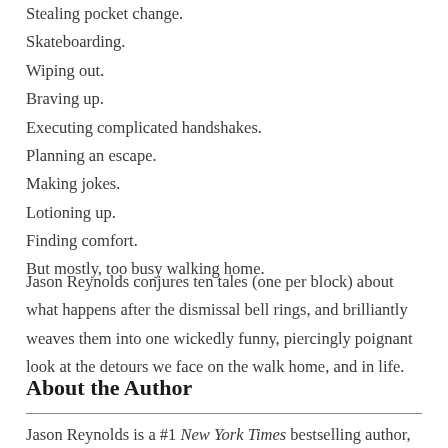Stealing pocket change.
Skateboarding.
Wiping out.
Braving up.
Executing complicated handshakes.
Planning an escape.
Making jokes.
Lotioning up.
Finding comfort.
But mostly, too busy walking home.
Jason Reynolds conjures ten tales (one per block) about what happens after the dismissal bell rings, and brilliantly weaves them into one wickedly funny, piercingly poignant look at the detours we face on the walk home, and in life.
About the Author
Jason Reynolds is a #1 New York Times bestselling author, a Newbery Award Honoree, a Printz Award Honoree, and more.